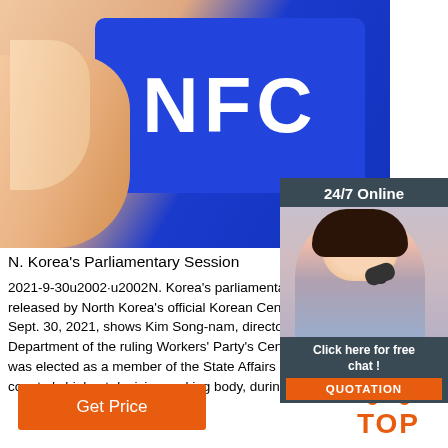[Figure (photo): Photo of a hand holding a blue NFC card/tag with white NFC text on it]
[Figure (infographic): 24/7 Online chat widget with a customer support agent photo, 'Click here for free chat!' text, and orange QUOTATION button]
N. Korea's Parliamentary Session
2021-9-30u2002·u2002N. Korea's parliamentary session released by North Korea's official Korean Central News Agency on Sept. 30, 2021, shows Kim Song-nam, director of the International Department of the ruling Workers' Party's Central Committee, was elected as a member of the State Affairs Commission, the country's highest decision-making body, during ...
[Figure (infographic): Orange 'Get Price' button]
[Figure (infographic): Orange TOP back-to-top icon with dots and TOP text]